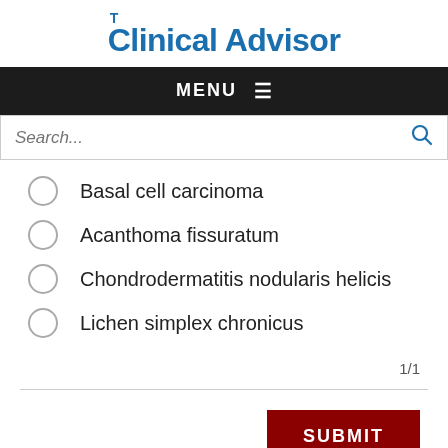Clinical Advisor
MENU
Search...
Basal cell carcinoma
Acanthoma fissuratum
Chondrodermatitis nodularis helicis
Lichen simplex chronicus
1/1
SUBMIT
TOPICS: DERMATOLOGY